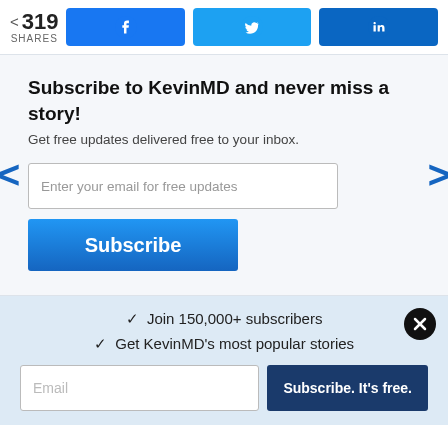< 319 SHARES
[Figure (other): Facebook share button (blue), Twitter share button (light blue), LinkedIn share button (dark blue)]
Subscribe to KevinMD and never miss a story!
Get free updates delivered free to your inbox.
Enter your email for free updates
Subscribe
✓ Join 150,000+ subscribers
✓ Get KevinMD's most popular stories
Email
Subscribe. It's free.